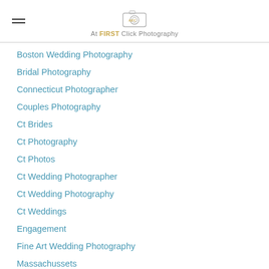At FIRST Click Photography
Boston Wedding Photography
Bridal Photography
Connecticut Photographer
Couples Photography
Ct Brides
Ct Photography
Ct Photos
Ct Wedding Photographer
Ct Wedding Photography
Ct Weddings
Engagement
Fine Art Wedding Photography
Massachussets
Photographers Photography
Photography In Boston
Photography Near Me
Wedding Photographer